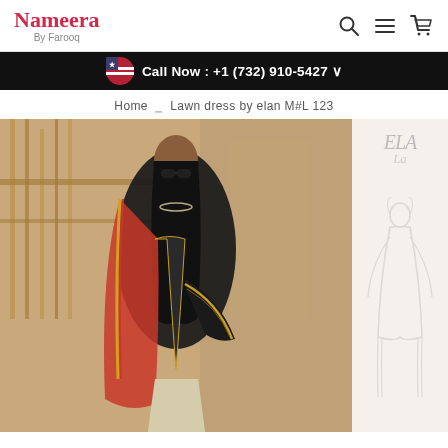Nameera By Farooq
Call Now : +1 (732) 910-5427
Home  Lawn dress by elan M#L 123
[Figure (photo): Fashion photograph of a woman wearing a black embroidered lawn dress with colorful dupatta, posed in front of ornate iron gates. Partial Elan Lawn branding visible on the right side.]